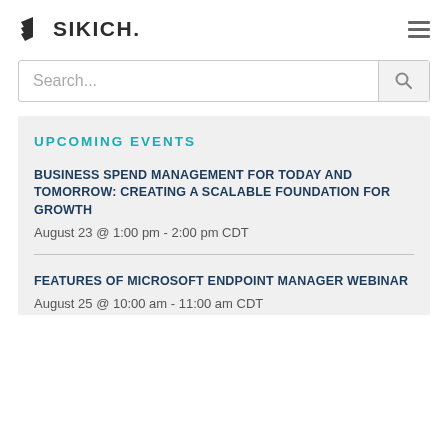SIKICH.
Search...
UPCOMING EVENTS
BUSINESS SPEND MANAGEMENT FOR TODAY AND TOMORROW: CREATING A SCALABLE FOUNDATION FOR GROWTH
August 23 @ 1:00 pm - 2:00 pm CDT
FEATURES OF MICROSOFT ENDPOINT MANAGER WEBINAR
August 25 @ 10:00 am - 11:00 am CDT